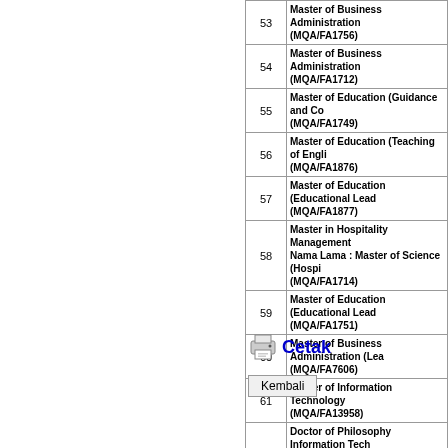| No | Program |
| --- | --- |
| 53 | Master of Business Administration (MQA/FA1756) |
| 54 | Master of Business Administration (MQA/FA1712) |
| 55 | Master of Education (Guidance and Co... (MQA/FA1749) |
| 56 | Master of Education (Teaching of Engli... (MQA/FA1876) |
| 57 | Master of Education (Educational Lead... (MQA/FA1877) |
| 58 | Master in Hospitality Management
Nama Lama : Master of Science (Hospi... (MQA/FA1714) |
| 59 | Master of Education (Educational Lead... (MQA/FA1751) |
| 60 | Master of Business Administration (Lea... (MQA/FA7606) |
| 61 | Master of Information Technology (MQA/FA13958) |
| 62 | Doctor of Philosophy Information Tech...
Nama Lama : Doctor of Philosophy (In... Research (MQA/FA1743) |
| 63 | Doctor of Philosophy (PhD) in Educatio... (MQA/FA3855) |
| 64 | Doctor of Philosophy in Management (MQA/FA3741) |
| 65 | Doctor of Philosophy in Business Admin... (MQA/FA3740) |
Cetak
Kembali